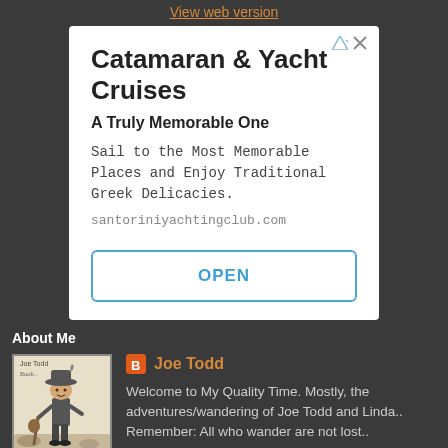View web version
[Figure (screenshot): Advertisement box for Catamaran & Yacht Cruises with title, subtitle, body text, URL, and OPEN button]
About Me
[Figure (illustration): Black and white illustration of a person in a hat carrying a stick, resembling a wanderer or traveler]
Joe Todd
Welcome to My Quality Time. Mostly, the adventures/wandering of Joe Todd and Linda.. Remember: All who wander are not lost..
View my complete profile